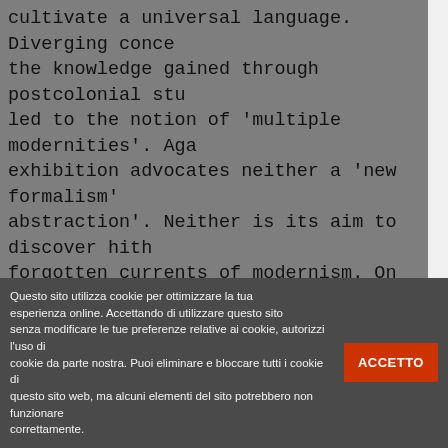cultivate a universal language. Diverging concepts, the knowledge gained through postcolonial studies led to the notion of 'multiple modernities'. Again the exhibition advocates neither a 'new formalism' nor abstraction'. Neither is its aim to discover hitherto forgotten currents of modernism. On the contrary, to fundamentally challenge the conditions, constraints of modernity. They expose ambivalences and attempt new readings of the rhetoric of modernity and the canon of modernism.
Modernologies unfolds a cartography of alternative narratives, lines of conflicts and unresolved controversies works and projects by more than thirty artists around a new 'mapping of the critique of modernity'. The works in the exhibition are organised around three leitmotifs: 'the space', illustrated by a series of projects that explore correspondences between the architectural space: the social and political space; 'the concept of a uni...
Questo sito utilizza cookie per ottimizzare la tua esperienza online. Accettando di utilizzare questo sito senza modificare le tue preferenze relative ai cookie, autorizzi l'uso di cookie da parte nostra. Puoi eliminare e bloccare tutti i cookie di questo sito web, ma alcuni elementi del sito potrebbero non funzionare correttamente.